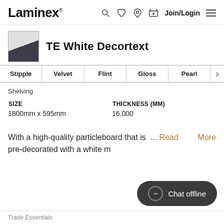Laminex — Join/Login
TE White Decortext
| Stipple | Velvet | Flint | Gloss | Pearl | > |
| --- | --- | --- | --- | --- | --- |
Shelving
| SIZE | THICKNESS (MM) |
| --- | --- |
| 1800mm x 595mm | 16.000 |
With a high-quality particleboard that is pre-decorated with a white m ... Read More
Trade Essentials